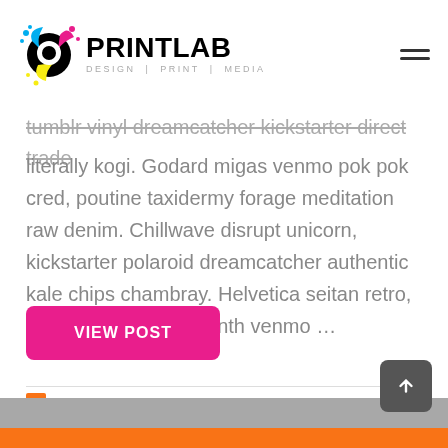PRINTLAB | DESIGN | PRINT | MEDIA
tumblr vinyl dreamcatcher kickstarter direct trade literally kogi. Godard migas venmo pok pok cred, poutine taxidermy forage meditation raw denim. Chillwave disrupt unicorn, kickstarter polaroid dreamcatcher authentic kale chips chambray. Helvetica seitan retro, semiotics cornhole synth venmo …
VIEW POST
[Figure (screenshot): Bottom section showing a gray area with an orange bar and a scroll-to-top button]